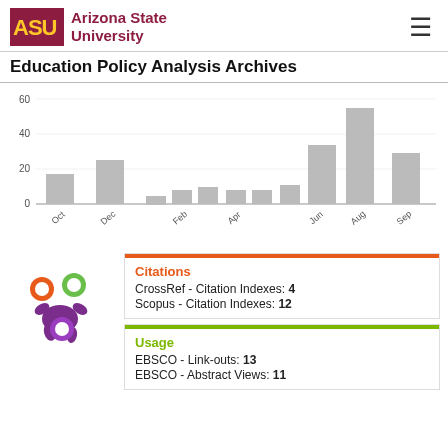Arizona State University — Education Policy Analysis Archives
[Figure (bar-chart): Monthly counts]
[Figure (logo): Altmetric donut-style logo with orange, green, and purple circles on purple splat shape]
Citations
CrossRef - Citation Indexes: 4
Scopus - Citation Indexes: 12
Usage
EBSCO - Link-outs: 13
EBSCO - Abstract Views: 11